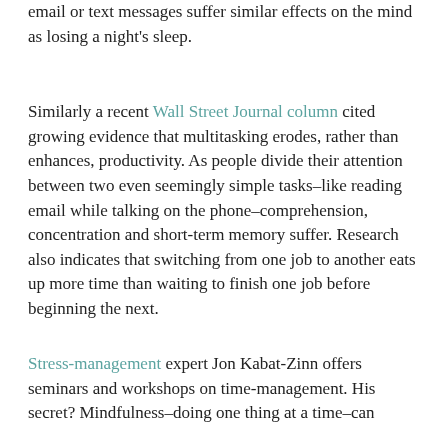email or text messages suffer similar effects on the mind as losing a night's sleep.
Similarly a recent Wall Street Journal column cited growing evidence that multitasking erodes, rather than enhances, productivity. As people divide their attention between two even seemingly simple tasks–like reading email while talking on the phone–comprehension, concentration and short-term memory suffer. Research also indicates that switching from one job to another eats up more time than waiting to finish one job before beginning the next.
Stress-management expert Jon Kabat-Zinn offers seminars and workshops on time-management. His secret? Mindfulness–doing one thing at a time–can